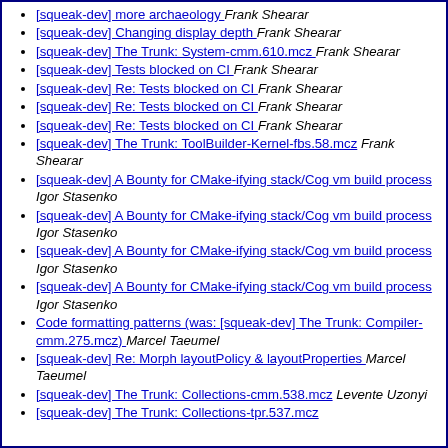[squeak-dev] more archaeology  Frank Shearar
[squeak-dev] Changing display depth  Frank Shearar
[squeak-dev] The Trunk: System-cmm.610.mcz  Frank Shearar
[squeak-dev] Tests blocked on CI  Frank Shearar
[squeak-dev] Re: Tests blocked on CI  Frank Shearar
[squeak-dev] Re: Tests blocked on CI  Frank Shearar
[squeak-dev] Re: Tests blocked on CI  Frank Shearar
[squeak-dev] The Trunk: ToolBuilder-Kernel-fbs.58.mcz  Frank Shearar
[squeak-dev] A Bounty for CMake-ifying stack/Cog vm build process  Igor Stasenko
[squeak-dev] A Bounty for CMake-ifying stack/Cog vm build process  Igor Stasenko
[squeak-dev] A Bounty for CMake-ifying stack/Cog vm build process  Igor Stasenko
[squeak-dev] A Bounty for CMake-ifying stack/Cog vm build process  Igor Stasenko
Code formatting patterns (was: [squeak-dev] The Trunk: Compiler-cmm.275.mcz)  Marcel Taeumel
[squeak-dev] Re: Morph layoutPolicy & layoutProperties  Marcel Taeumel
[squeak-dev] The Trunk: Collections-cmm.538.mcz  Levente Uzonyi
[squeak-dev] The Trunk: Collections-tpr.537.mcz